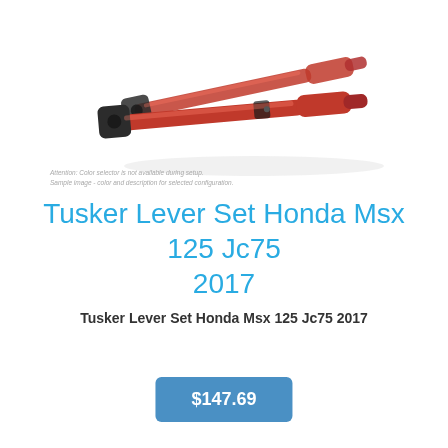[Figure (photo): Two red anodized aluminum adjustable motorcycle brake/clutch levers with black pivot blocks, photographed on a white reflective surface.]
Attention: Color selector is not available during setup.
Sample image - color and description for selected configuration.
Tusker Lever Set Honda Msx 125 Jc75 2017
Tusker Lever Set Honda Msx 125 Jc75 2017
$147.69